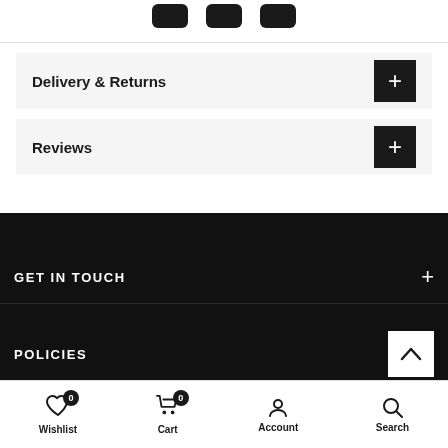[Figure (logo): Brand logo at top of page (partial, cropped)]
Delivery & Returns
Reviews
GET IN TOUCH
POLICIES
Wishlist | Cart | Account | Search